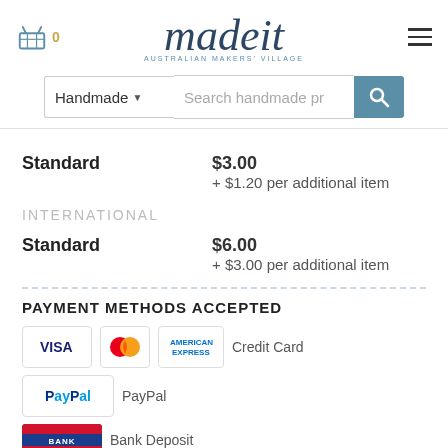[Figure (logo): Madeit Australian Makers' Village logo with basket icon and hamburger menu]
[Figure (screenshot): Search bar with Handmade dropdown and search field]
Standard    $3.00
+ $1.20 per additional item
INTERNATIONAL
Standard    $6.00
+ $3.00 per additional item
PAYMENT METHODS ACCEPTED
[Figure (infographic): Payment method icons: Visa, Mastercard, American Express credit cards, PayPal, Bank Deposit]
Credit Card
PayPal
Bank Deposit